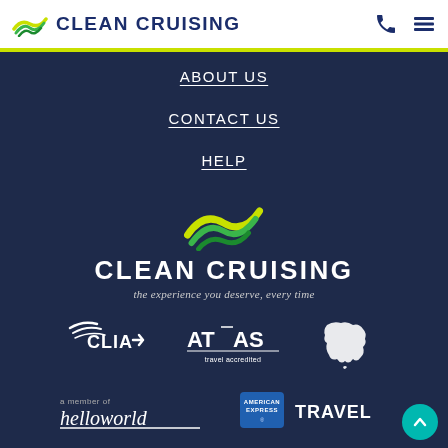CLEAN CRUISING
ABOUT US
CONTACT US
HELP
[Figure (logo): Clean Cruising logo with wave icon and tagline: the experience you deserve, every time]
[Figure (logo): CLIA logo - Cruise Lines International Association]
[Figure (logo): ATAS - Travel Accredited logo]
[Figure (logo): Australia map icon/logo]
[Figure (logo): helloworld - a member of logo]
[Figure (logo): American Express TRAVEL logo]